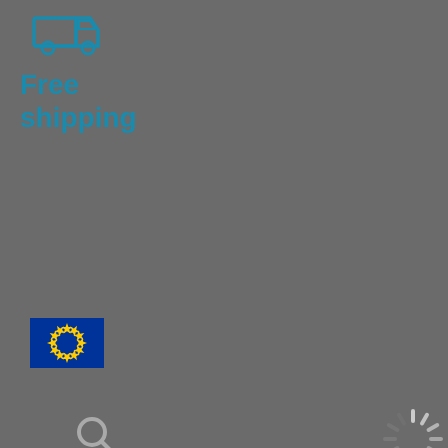[Figure (illustration): Truck/delivery icon in teal outline style on dark grey background]
Free shipping
[Figure (illustration): European Union flag icon (dark blue with yellow stars circle)]
[Figure (illustration): Search (magnifying glass) icon in dark grey]
[Figure (illustration): Loading spinner icon (radial lines)]
[Figure (screenshot): Cookie consent modal dialog overlaying the webpage]
This Site Uses Cookies
Crucial uses cookies to enhance user experience and to analyze performance and traffic on our website. We also share information about your use of our site with social media, advertising, and analytics partners. Click "Cookies Settings" to manage your preferences. For more information, see our Cookie Policy.